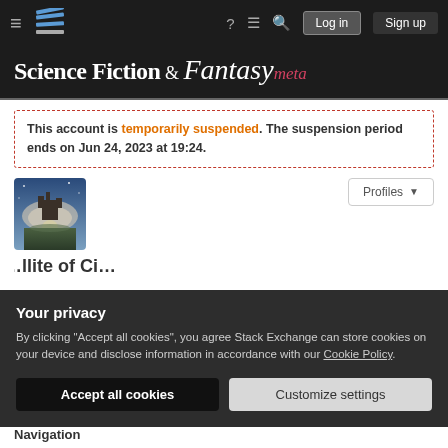Science Fiction & Fantasy meta — Stack Exchange navigation bar
Science Fiction & Fantasy meta
This account is temporarily suspended. The suspension period ends on Jun 24, 2023 at 19:24.
[Figure (photo): User profile avatar showing a sci-fi/fantasy themed image (castle in clouds)]
Profiles
Your privacy
By clicking "Accept all cookies", you agree Stack Exchange can store cookies on your device and disclose information in accordance with our Cookie Policy.
Accept all cookies
Customize settings
Navigation